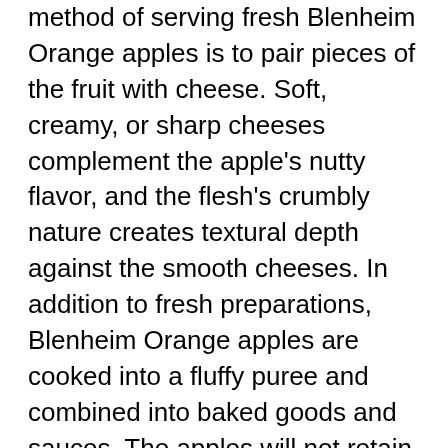method of serving fresh Blenheim Orange apples is to pair pieces of the fruit with cheese. Soft, creamy, or sharp cheeses complement the apple's nutty flavor, and the flesh's crumbly nature creates textural depth against the smooth cheeses. In addition to fresh preparations, Blenheim Orange apples are cooked into a fluffy puree and combined into baked goods and sauces. The apples will not retain their shape with heat and need to be incorporated into dishes that require a softer texture, such as baking into cookies, bars, muffins, or doughnuts. In 19th-century England, Blenheim Orange apples were frequently used in apple charlotte, a dessert comprised of bread, stewed fruit, and custard. The apples have also been mixed with other varieties as a base cider flavoring. Blenheim Orange apples pair well with lemon zest, spices such as nutmeg, cinnamon, cloves, allspice, or ginger, cheeses including cheddar, blue, brie, camembert, and goat, and nuts such as walnuts, pecans, and almonds.